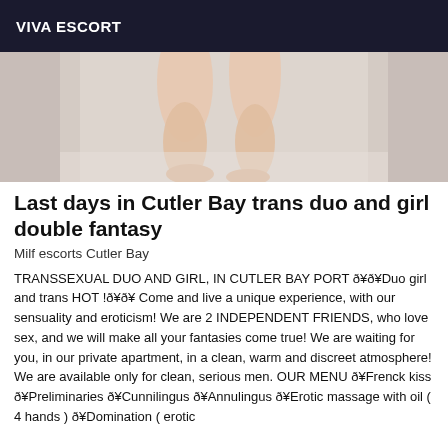VIVA ESCORT
[Figure (photo): Partial photo showing a person's legs on a light-colored surface, cropped to show lower body only.]
Last days in Cutler Bay trans duo and girl double fantasy
Milf escorts Cutler Bay
TRANSSEXUAL DUO AND GIRL, IN CUTLER BAY PORT 🥰Duo girl and trans HOT !🥰 Come and live a unique experience, with our sensuality and eroticism! We are 2 INDEPENDENT FRIENDS, who love sex, and we will make all your fantasies come true! We are waiting for you, in our private apartment, in a clean, warm and discreet atmosphere! We are available only for clean, serious men. OUR MENU 🥰Frenck kiss 🥰Preliminaries 🥰Cunnilingus 🥰Annulingus 🥰Erotic massage with oil ( 4 hands ) 🥰Domination ( erotic